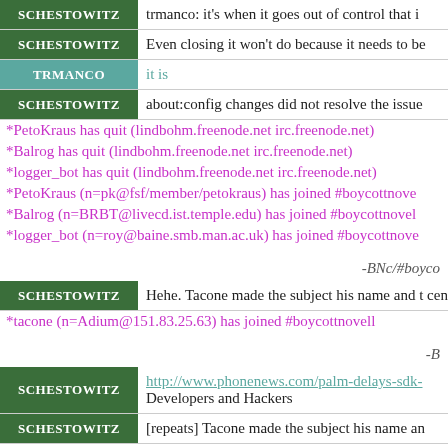SCHESTOWITZ | trmanco: it's when it goes out of control that i
SCHESTOWITZ | Even closing it won't do because it needs to be
TRMANCO | it is
SCHESTOWITZ | about:config changes did not resolve the issue
*PetoKraus has quit (lindbohm.freenode.net irc.freenode.net)
*Balrog has quit (lindbohm.freenode.net irc.freenode.net)
*logger_bot has quit (lindbohm.freenode.net irc.freenode.net)
*PetoKraus (n=pk@fsf/member/petokraus) has joined #boycottnove
*Balrog (n=BRBT@livecd.ist.temple.edu) has joined #boycottnovel
*logger_bot (n=roy@baine.smb.man.ac.uk) has joined #boycottnove
-BNc/#boyco
SCHESTOWITZ | Hehe. Tacone made the subject his name and t censored all forum posts about this though)."
*tacone (n=Adium@151.83.25.63) has joined #boycottnovell
-B
SCHESTOWITZ | http://www.phonenews.com/palm-delays-sdk- Developers and Hackers
SCHESTOWITZ | [repeats] Tacone made the subject his name an